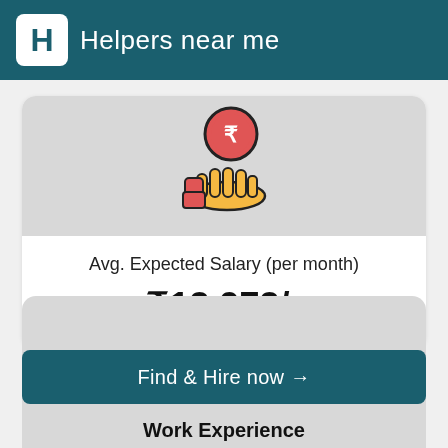Helpers near me
[Figure (illustration): Hand holding a rupee coin icon]
Avg. Expected Salary (per month)
₹13,973/-
Find & Hire now →
Work Experience